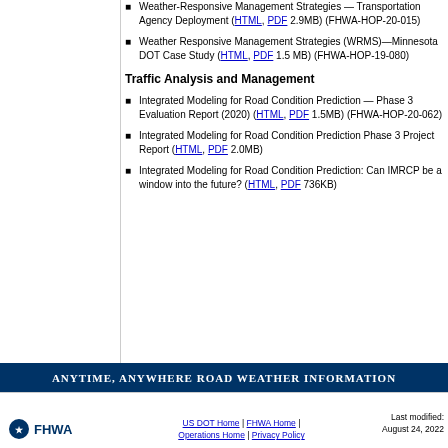Weather-Responsive Management Strategies — Transportation Agency Deployment (HTML, PDF 2.9MB) (FHWA-HOP-20-015)
Weather Responsive Management Strategies (WRMS)—Minnesota DOT Case Study (HTML, PDF 1.5 MB) (FHWA-HOP-19-080)
Traffic Analysis and Management
Integrated Modeling for Road Condition Prediction — Phase 3 Evaluation Report (2020) (HTML, PDF 1.5MB) (FHWA-HOP-20-062)
Integrated Modeling for Road Condition Prediction Phase 3 Project Report (HTML, PDF 2.0MB)
Integrated Modeling for Road Condition Prediction: Can IMRCP be a window into the future? (HTML, PDF 736KB)
Anytime, Anywhere Road Weather Information
US DOT Home | FHWA Home | Operations Home | Privacy Policy    Last modified: August 24, 2022